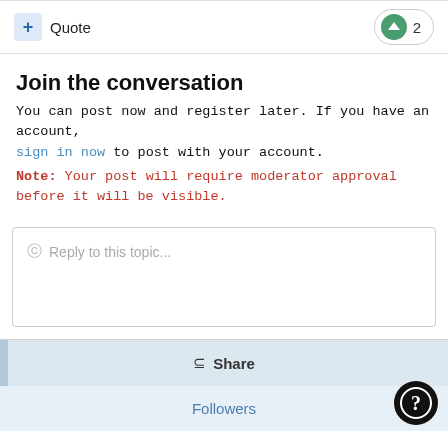+ Quote   ↑ 2
Join the conversation
You can post now and register later. If you have an account, sign in now to post with your account.
Note: Your post will require moderator approval before it will be visible.
Reply to this topic...
Share
Followers